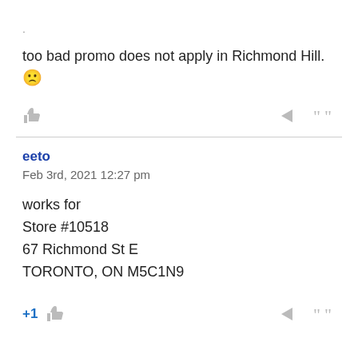.
too bad promo does not apply in Richmond Hill. 😕
eeto
Feb 3rd, 2021 12:27 pm
works for
Store #10518
67 Richmond St E
TORONTO, ON M5C1N9